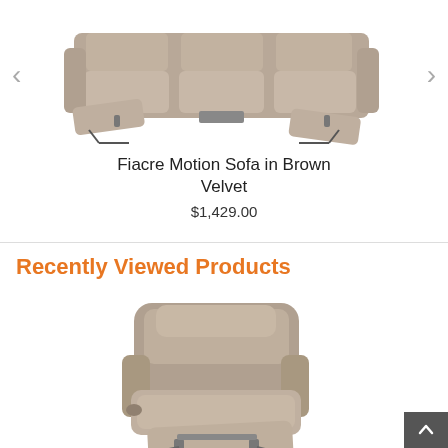[Figure (photo): Photo of a brown velvet motion sofa (recliner sofa) with two seats extended, viewed from the front-side angle. The sofa has a taupe/beige-brown velvet fabric.]
Fiacre Motion Sofa in Brown Velvet
$1,429.00
Recently Viewed Products
[Figure (photo): Photo of a brown/taupe leather recliner chair with the footrest extended, viewed from a slight angle. The chair has thick padding on the back, seat, and armrests.]